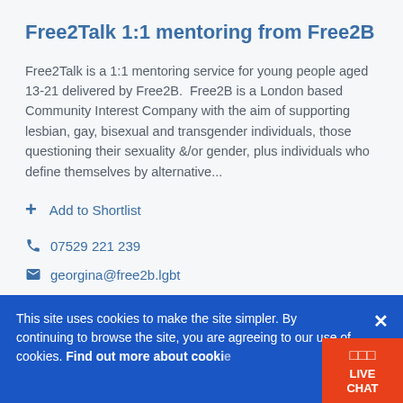Free2Talk 1:1 mentoring from Free2B
Free2Talk is a 1:1 mentoring service for young people aged 13-21 delivered by Free2B.  Free2B is a London based Community Interest Company with the aim of supporting lesbian, gay, bisexual and transgender individuals, those questioning their sexuality &/or gender, plus individuals who define themselves by alternative...
+ Add to Shortlist
07529 221 239
georgina@free2b.lgbt
Website
This site uses cookies to make the site simpler. By continuing to browse the site, you are agreeing to our use of cookies. Find out more about cookies